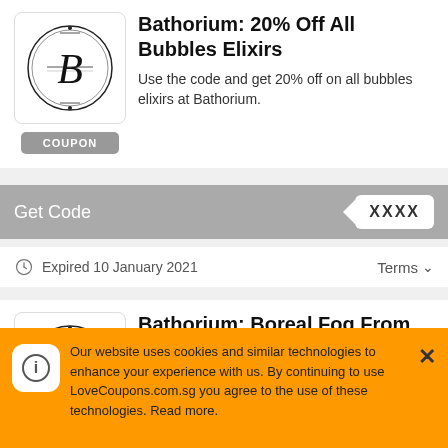[Figure (logo): Bathorium circular logo with decorative B letter]
Bathorium: 20% Off All Bubbles Elixirs
Use the code and get 20% off on all bubbles elixirs at Bathorium.
COUPON
Get Code  XXXX
Expired 10 January 2021  Terms
[Figure (logo): Bathorium circular logo with decorative B letter]
Bathorium: Boreal Fog From $12.00
Purchase and get boreal fog starting from $12.00 at Bathorium.
Our website uses cookies and similar technologies to enhance your experience with us. By continuing to use LoveCoupons.com.sg you agree to the use of these technologies. Read more.